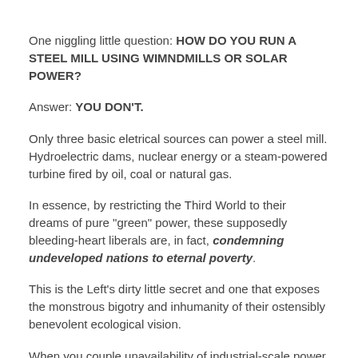One niggling little question: HOW DO YOU RUN A STEEL MILL USING WIMNDMILLS OR SOLAR POWER?
Answer: YOU DON'T.
Only three basic eletrical sources can power a steel mill. Hydroelectric dams, nuclear energy or a steam-powered turbine fired by oil, coal or natural gas.
In essence, by restricting the Third World to their dreams of pure "green" power, these supposedly bleeding-heart liberals are, in fact, condemning undeveloped nations to eternal poverty.
This is the Left's dirty little secret and one that exposes the monstrous bigotry and inhumanity of their ostensibly benevolent ecological vision.
When you couple unavailability of industrial-scale power sources with liberal hysteria about The Great